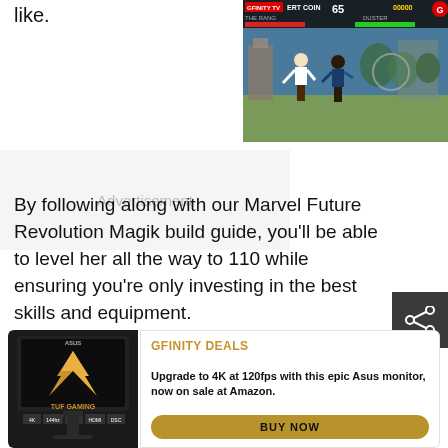like.
[Figure (screenshot): A video game screenshot showing a fighting game with two characters in a martial arts arena. The HUD shows health bars, a timer showing 65, and score 00000. A GFINITY TV ERT COIN logo appears in the top left with a red G icon in the top right.]
Advertisement
By following along with our Marvel Future Revolution Magik build guide, you'll be able to level her all the way to 110 while ensuring you're only investing in the best skills and equipment.
[Figure (photo): ASUS TUF Gaming monitor product photo on dark background, showing the monitor with TUF Gaming branding and specs including 144hz, IPS, 4K]
GFINITY DEALS
Upgrade to 4K at 120fps with this epic Asus monitor, now on sale at Amazon.
BUY NOW